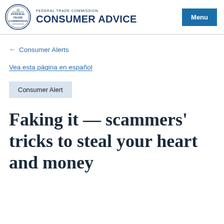FEDERAL TRADE COMMISSION CONSUMER ADVICE
← Consumer Alerts
Vea esta página en español
Consumer Alert
Faking it — scammers' tricks to steal your heart and money